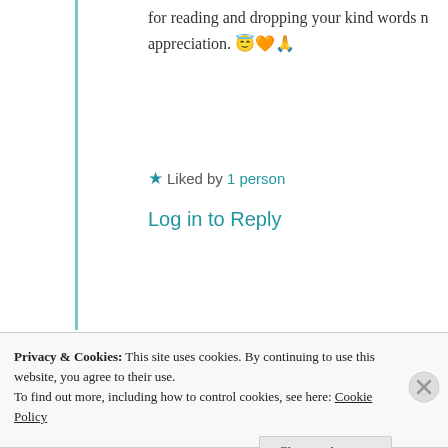for reading and dropping your kind words n appreciation. 😇🧡🙏
★ Liked by 1 person
Log in to Reply
Advertisements
[Figure (other): Longreads advertisement banner: red background with Longreads logo and tagline 'The best stories on the web – ours, and everyone else's.']
Yernasia Quorelios
Privacy & Cookies: This site uses cookies. By continuing to use this website, you agree to their use.
To find out more, including how to control cookies, see here: Cookie Policy
Close and accept